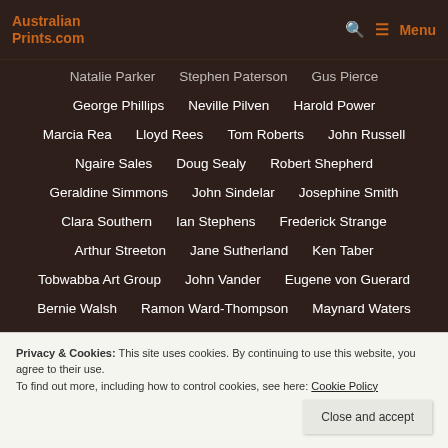AustralianPrints.com | Search | Menu
Natalie Parker   Stephen Paterson   Gus Pierce
George Phillips   Neville Pilven   Harold Power
Marcia Rea   Lloyd Rees   Tom Roberts   John Russell
Ngaire Sales   Doug Sealy   Robert Shepherd
Geraldine Simmons   John Sindelar   Josephine Smith
Clara Southern   Ian Stephens   Frederick Strange
Arthur Streeton   Jane Sutherland   Ken Taber
Tobwabba Art Group   John Vander   Eugene von Guerard
Bernie Walsh   Ramon Ward-Thompson   Maynard Waters
Privacy & Cookies: This site uses cookies. By continuing to use this website, you agree to their use.
To find out more, including how to control cookies, see here: Cookie Policy
Close and accept